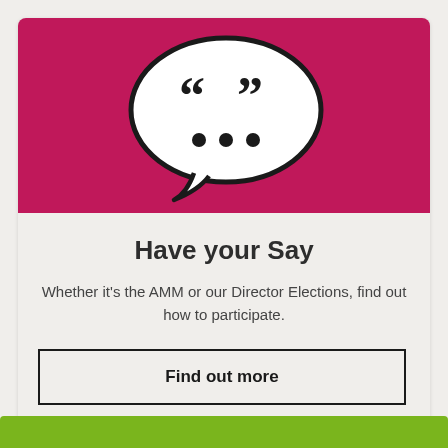[Figure (illustration): White speech bubble with quotation marks and three dots on a dark pink/crimson background]
Have your Say
Whether it's the AMM or our Director Elections, find out how to participate.
Find out more